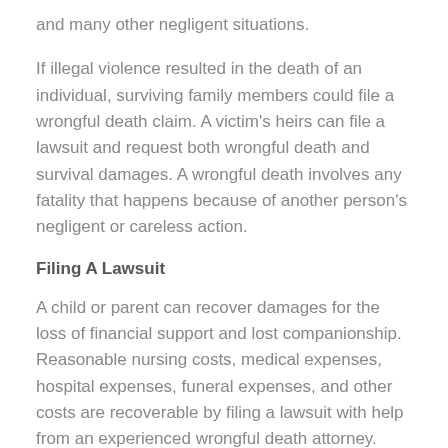and many other negligent situations.
If illegal violence resulted in the death of an individual, surviving family members could file a wrongful death claim. A victim's heirs can file a lawsuit and request both wrongful death and survival damages. A wrongful death involves any fatality that happens because of another person's negligent or careless action.
Filing A Lawsuit
A child or parent can recover damages for the loss of financial support and lost companionship. Reasonable nursing costs, medical expenses, hospital expenses, funeral expenses, and other costs are recoverable by filing a lawsuit with help from an experienced wrongful death attorney.